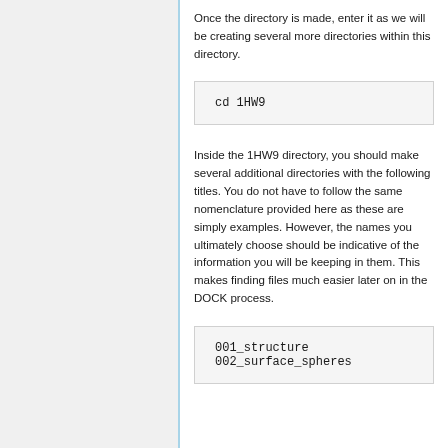Once the directory is made, enter it as we will be creating several more directories within this directory.
cd 1HW9
Inside the 1HW9 directory, you should make several additional directories with the following titles. You do not have to follow the same nomenclature provided here as these are simply examples. However, the names you ultimately choose should be indicative of the information you will be keeping in them. This makes finding files much easier later on in the DOCK process.
001_structure
002_surface_spheres